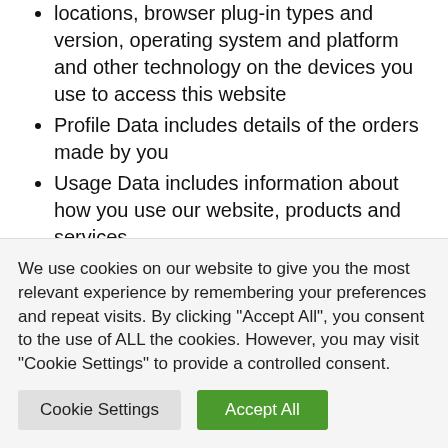locations, browser plug-in types and version, operating system and platform and other technology on the devices you use to access this website
Profile Data includes details of the orders made by you
Usage Data includes information about how you use our website, products and services
Marketing and Communications Data includes your preferences in receiving marketing from us and our third parties and your communication preferences
We also collect, use and share Aggregated Data such as statistical or demographic data for any purpose. Aggregated Data may be derived from your personal data but is not...
We use cookies on our website to give you the most relevant experience by remembering your preferences and repeat visits. By clicking "Accept All", you consent to the use of ALL the cookies. However, you may visit "Cookie Settings" to provide a controlled consent.